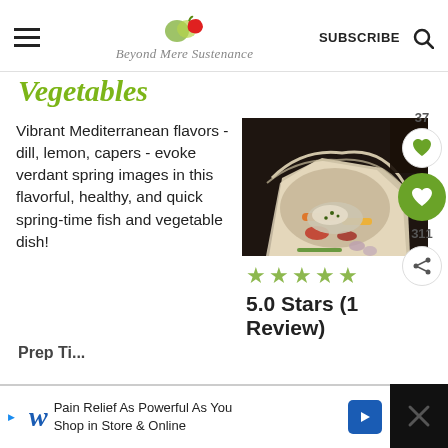Beyond Mere Sustenance | SUBSCRIBE
Vegetables (partial)
Vibrant Mediterranean flavors - dill, lemon, capers - evoke verdant spring images in this flavorful, healthy, and quick spring-time fish and vegetable dish!
[Figure (photo): Food photo showing fish en papillote (fish and vegetables wrapped in parchment paper)]
5.0 Stars (1 Review)
Prep Ti...
[Figure (screenshot): Advertisement banner: Walgreens - Pain Relief As Powerful As You Shop in Store & Online]